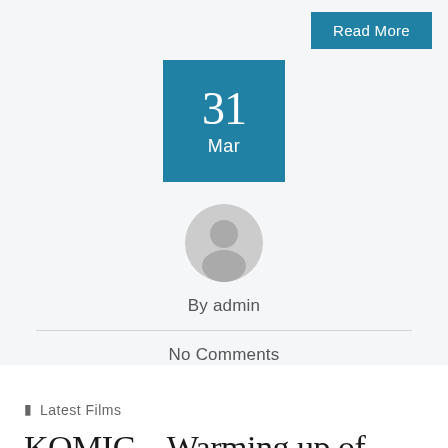Read More
31
Mar
[Figure (illustration): Generic user avatar circle icon in grey]
By admin
No Comments
Latest Films
KOMIC – Warming up of Himalayas at a very high